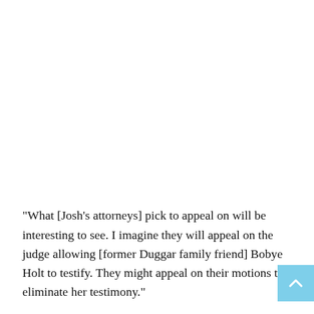“What [Josh’s attorneys] pick to appeal on will be interesting to see. I imagine they will appeal on the judge allowing [former Duggar family friend] Bobye Holt to testify. They might appeal on their motions to eliminate her testimony.”